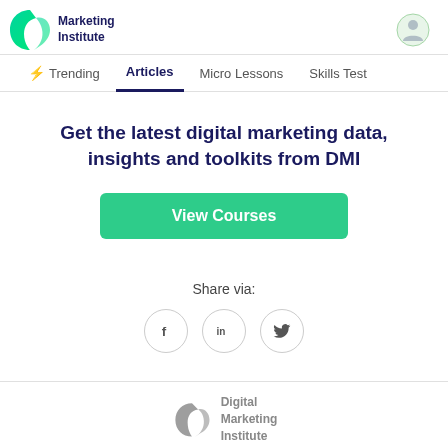[Figure (logo): Digital Marketing Institute logo with green swirl icon and text]
Trending  Articles  Micro Lessons  Skills Test
Get the latest digital marketing data, insights and toolkits from DMI
View Courses
Share via:
[Figure (infographic): Social share icons: Facebook, LinkedIn, Twitter in circles]
[Figure (logo): Digital Marketing Institute footer logo in grey]